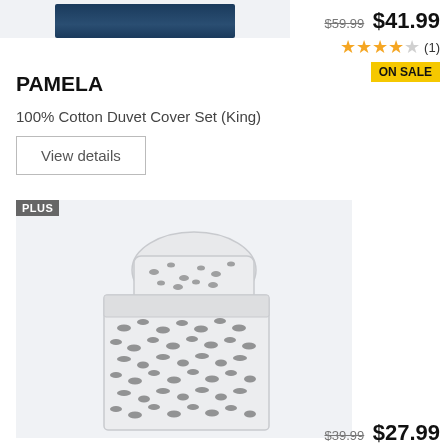[Figure (photo): Top portion of a duvet cover set product image, dark navy blue fabric]
$59.99 $41.99
★★★★☆ (1)
ON SALE
PAMELA
100% Cotton Duvet Cover Set (King)
View details
[Figure (photo): White duvet cover set with scattered dark animal print pattern (bears, birds), shown with matching pillow]
$39.99 $27.99